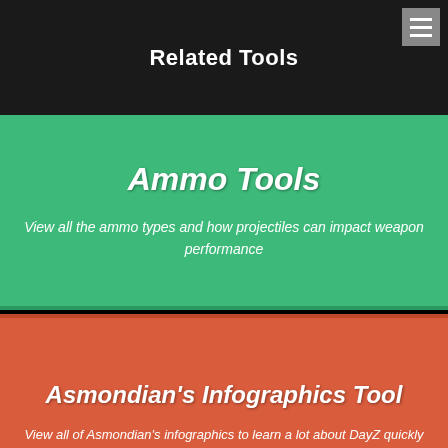Related Tools
Ammo Tools
View all the ammo types and how projectiles can impact weapon performance
Asmondian's Infographics Tool
View all of Asmondian's infographics to learn a lot about DayZ quickly
Attachment Tools